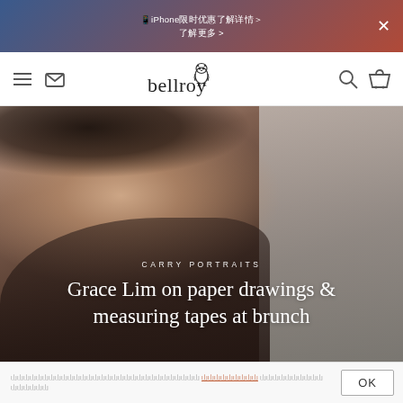📱iPhone限时优惠 了解详情 >
[Figure (screenshot): Bellroy website navigation bar with hamburger menu, mail icon, Bellroy logo with owl, search and cart icons]
[Figure (photo): Photo of Grace Lim smiling, wearing a black patterned top, with text overlay 'CARRY PORTRAITS' and 'Grace Lim on paper drawings & measuring tapes at brunch']
CARRY PORTRAITS
Grace Lim on paper drawings & measuring tapes at brunch
Cookie consent notice with link and OK button